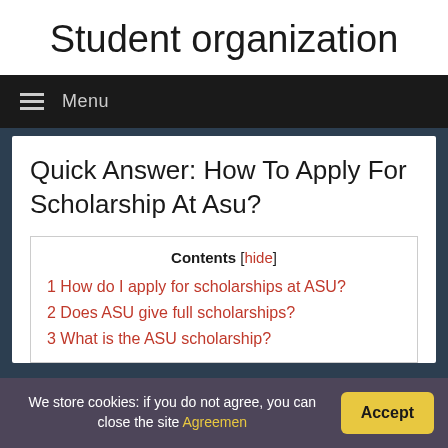Student organization
Menu
Quick Answer: How To Apply For Scholarship At Asu?
Contents [hide]
1 How do I apply for scholarships at ASU?
2 Does ASU give full scholarships?
3 What is the ASU scholarship?
We store cookies: if you do not agree, you can close the site Agreement